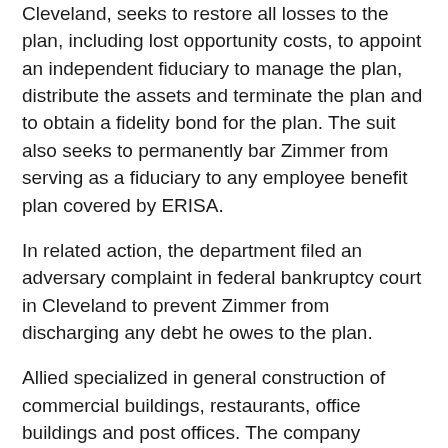Cleveland, seeks to restore all losses to the plan, including lost opportunity costs, to appoint an independent fiduciary to manage the plan, distribute the assets and terminate the plan and to obtain a fidelity bond for the plan. The suit also seeks to permanently bar Zimmer from serving as a fiduciary to any employee benefit plan covered by ERISA.
In related action, the department filed an adversary complaint in federal bankruptcy court in Cleveland to prevent Zimmer from discharging any debt he owes to the plan.
Allied specialized in general construction of commercial buildings, restaurants, office buildings and post offices. The company ceased doing business in February 2003. The plan had eight participants and $75,054 in assets as of June 30, 2003.